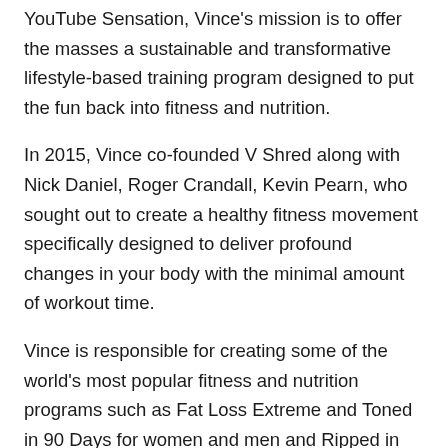YouTube Sensation, Vince's mission is to offer the masses a sustainable and transformative lifestyle-based training program designed to put the fun back into fitness and nutrition.
In 2015, Vince co-founded V Shred along with Nick Daniel, Roger Crandall, Kevin Pearn, who sought out to create a healthy fitness movement specifically designed to deliver profound changes in your body with the minimal amount of workout time.
Vince is responsible for creating some of the world's most popular fitness and nutrition programs such as Fat Loss Extreme and Toned in 90 Days for women and men and Ripped in 90 Days for men.